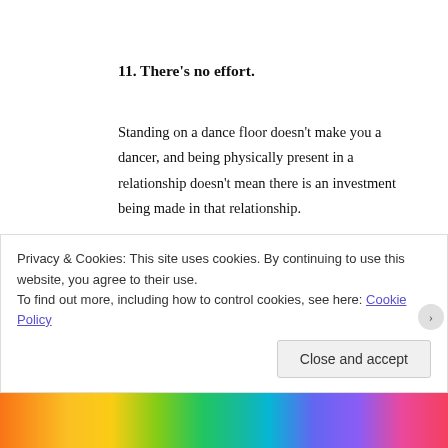11. There's no effort.
Standing on a dance floor doesn't make you a dancer, and being physically present in a relationship doesn't mean there is an investment being made in that relationship.
Doing things separately sometimes is healthy, but as with all healthy things, too much is too much. When there is no effort to love you, spend time with you, share the things that are important to you, the relationship stops giving and starts taking too much.
Privacy & Cookies: This site uses cookies. By continuing to use this website, you agree to their use.
To find out more, including how to control cookies, see here: Cookie Policy
Close and accept